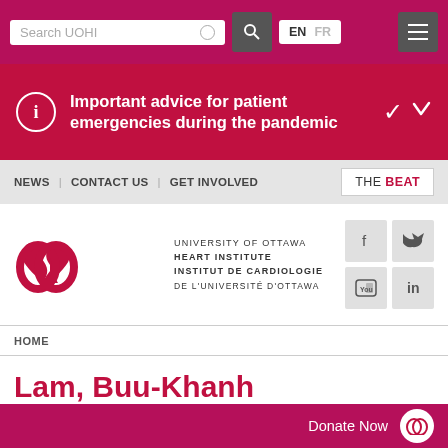Search UOHI | EN | FR
Important advice for patient emergencies during the pandemic
NEWS | CONTACT US | GET INVOLVED | THE BEAT
[Figure (logo): University of Ottawa Heart Institute logo with two interlocking hearts in crimson. Text: UNIVERSITY OF OTTAWA HEART INSTITUTE / INSTITUT DE CARDIOLOGIE DE L'UNIVERSITÉ D'OTTAWA. Social media icons for Facebook, Twitter, YouTube, LinkedIn.]
HOME
Lam, Buu-Khanh
Donate Now